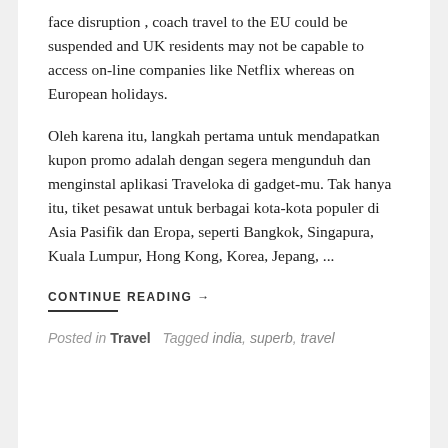face disruption , coach travel to the EU could be suspended and UK residents may not be capable to access on-line companies like Netflix whereas on European holidays.
Oleh karena itu, langkah pertama untuk mendapatkan kupon promo adalah dengan segera mengunduh dan menginstal aplikasi Traveloka di gadget-mu. Tak hanya itu, tiket pesawat untuk berbagai kota-kota populer di Asia Pasifik dan Eropa, seperti Bangkok, Singapura, Kuala Lumpur, Hong Kong, Korea, Jepang, ...
CONTINUE READING →
Posted in Travel Tagged india, superb, travel